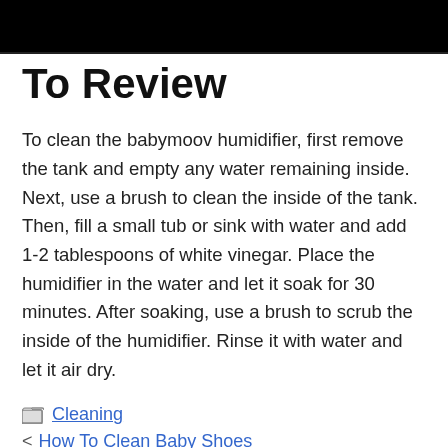To Review
To clean the babymoov humidifier, first remove the tank and empty any water remaining inside. Next, use a brush to clean the inside of the tank. Then, fill a small tub or sink with water and add 1-2 tablespoons of white vinegar. Place the humidifier in the water and let it soak for 30 minutes. After soaking, use a brush to scrub the inside of the humidifier. Rinse it with water and let it air dry.
Cleaning
< How To Clean Baby Shoes